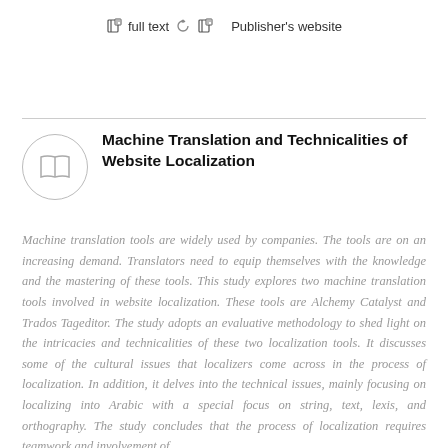full text   Publisher's website
Machine Translation and Technicalities of Website Localization
Machine translation tools are widely used by companies. The tools are on an increasing demand. Translators need to equip themselves with the knowledge and the mastering of these tools. This study explores two machine translation tools involved in website localization. These tools are Alchemy Catalyst and Trados Tageditor. The study adopts an evaluative methodology to shed light on the intricacies and technicalities of these two localization tools. It discusses some of the cultural issues that localizers come across in the process of localization. In addition, it delves into the technical issues, mainly focusing on localizing into Arabic with a special focus on string, text, lexis, and orthography. The study concludes that the process of localization requires teamwork and involvement of